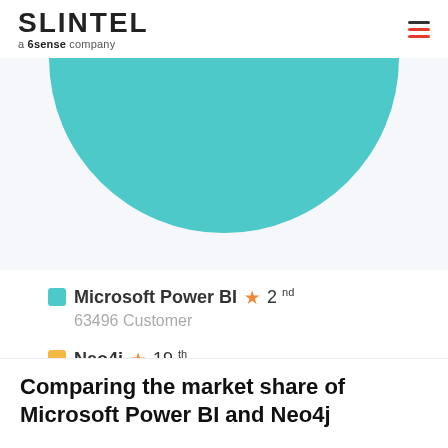SLINTEL a 6sense company
[Figure (other): Large teal/turquoise circle (partially visible, bottom half shown) representing Microsoft Power BI market share bubble chart element on a light gray background]
Microsoft Power BI ★ 2nd
63496 Customer
Neo4j ★ 19th
5778 Customer
Comparing the market share of Microsoft Power BI and Neo4j